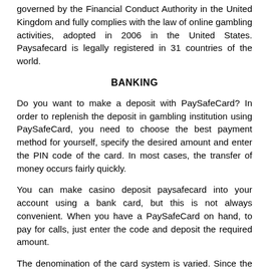governed by the Financial Conduct Authority in the United Kingdom and fully complies with the law of online gambling activities, adopted in 2006 in the United States. Paysafecard is legally registered in 31 countries of the world.
BANKING
Do you want to make a deposit with PaySafeCard? In order to replenish the deposit in gambling institution using PaySafeCard, you need to choose the best payment method for yourself, specify the desired amount and enter the PIN code of the card. In most cases, the transfer of money occurs fairly quickly.
You can make casino deposit paysafecard into your account using a bank card, but this is not always convenient. When you have a PaySafeCard on hand, to pay for calls, just enter the code and deposit the required amount.
The denomination of the card system is varied. Since the system is European, the calculations here are made in euros. The buyer can purchase cards for 10, 25, 50 or 100 euros, depending on their goals and preferences. If you accept payments in another currency (which